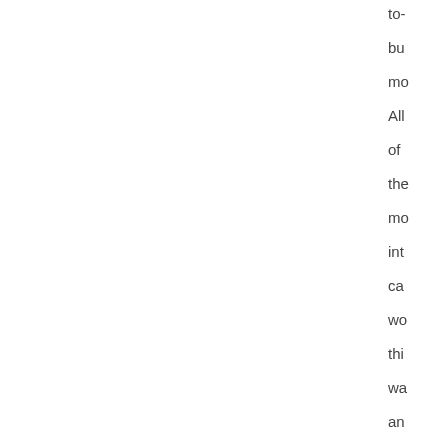to- bu mo All of the mo int ca wo thi wa an tho of we se pro